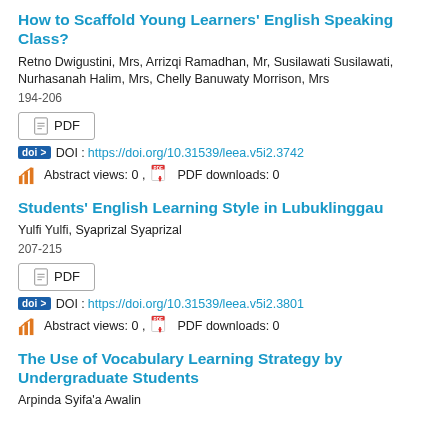How to Scaffold Young Learners' English Speaking Class?
Retno Dwigustini, Mrs, Arrizqi Ramadhan, Mr, Susilawati Susilawati, Nurhasanah Halim, Mrs, Chelly Banuwaty Morrison, Mrs
194-206
PDF
DOI : https://doi.org/10.31539/leea.v5i2.3742
Abstract views: 0 , PDF downloads: 0
Students' English Learning Style in Lubuklinggau
Yulfi Yulfi, Syaprizal Syaprizal
207-215
PDF
DOI : https://doi.org/10.31539/leea.v5i2.3801
Abstract views: 0 , PDF downloads: 0
The Use of Vocabulary Learning Strategy by Undergraduate Students
Arpinda Syifa'a Awalin